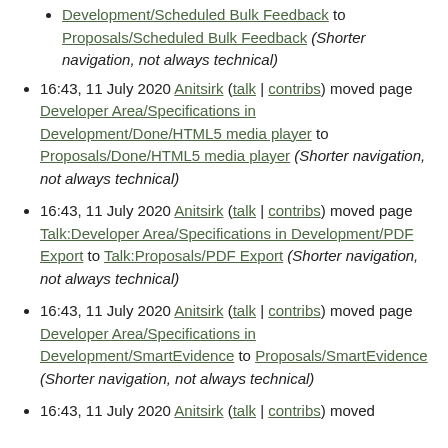Development/Scheduled Bulk Feedback to Proposals/Scheduled Bulk Feedback (Shorter navigation, not always technical)
16:43, 11 July 2020 Anitsirk (talk | contribs) moved page Developer Area/Specifications in Development/Done/HTML5 media player to Proposals/Done/HTML5 media player (Shorter navigation, not always technical)
16:43, 11 July 2020 Anitsirk (talk | contribs) moved page Talk:Developer Area/Specifications in Development/PDF Export to Talk:Proposals/PDF Export (Shorter navigation, not always technical)
16:43, 11 July 2020 Anitsirk (talk | contribs) moved page Developer Area/Specifications in Development/SmartEvidence to Proposals/SmartEvidence (Shorter navigation, not always technical)
16:43, 11 July 2020 Anitsirk (talk | contribs) moved